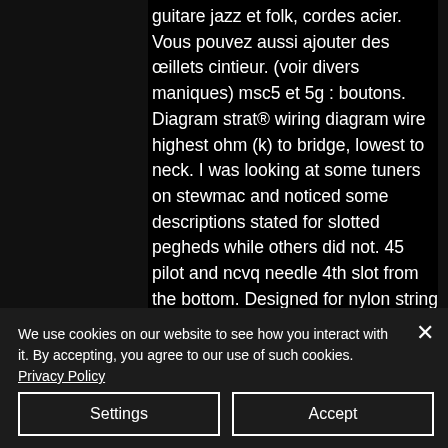guitare jazz et folk, cordes acier. Vous pouvez aussi ajouter des œillets cintieur. (voir divers maniques) msc5 et 5g : boutons. Diagram strat® wiring diagram wire highest ohm (k) to bridge, lowest to neck. I was looking at some tuners on stewmac and noticed some descriptions stated for slotted pegheds while others did not. 45 pilot and ncvq needle 4th slot from the bottom. Designed for nylon string instruments with a slotted headstock. Can you change shift knob automatic with button. &gt;&gt; we have used japanese cars whose gear shift works perfectly. Instead of squeezing the
We use cookies on our website to see how you interact with it. By accepting, you agree to our use of such cookies. Privacy Policy
Settings
Accept